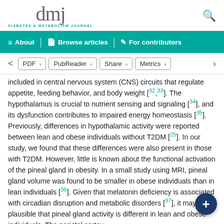dmj - DIABETES & METABOLISM JOURNAL
About | Browse articles | For contributors
PDF > | PubReader > | Share > | Metrics >
included in central nervous system (CNS) circuits that regulate appetite, feeding behavior, and body weight [32,33]. The hypothalamus is crucial to nutrient sensing and signaling [34], and its dysfunction contributes to impaired energy homeostasis [35]. Previously, differences in hypothalamic activity were reported between lean and obese individuals without T2DM [25]. In our study, we found that these differences were also present in those with T2DM. However, little is known about the functional activation of the pineal gland in obesity. In a small study using MRI, pineal gland volume was found to be smaller in obese individuals than in lean individuals [36]. Given that melatonin deficiency is associated with circadian disruption and metabolic disorders [37], it may be plausible that pineal gland activity is different in lean and obese individuals. The parietal cortex